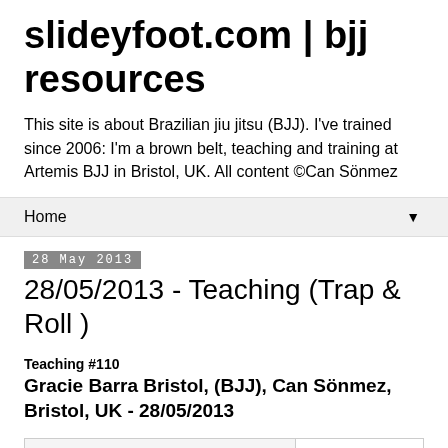slideyfoot.com | bjj resources
This site is about Brazilian jiu jitsu (BJJ). I've trained since 2006: I'm a brown belt, teaching and training at Artemis BJJ in Bristol, UK. All content ©Can Sönmez
Home ▼
28 May 2013
28/05/2013 - Teaching (Trap & Roll )
Teaching #110
Gracie Barra Bristol, (BJJ), Can Sönmez, Bristol, UK - 28/05/2013
The first basic escape is the trap and roll. A typical